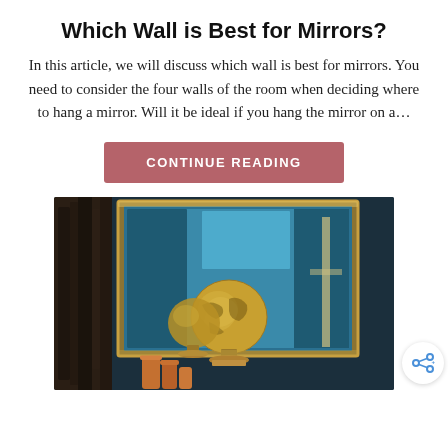Which Wall is Best for Mirrors?
In this article, we will discuss which wall is best for mirrors. You need to consider the four walls of the room when deciding where to hang a mirror. Will it be ideal if you hang the mirror on a…
CONTINUE READING
[Figure (photo): A decorative mirror with a golden globe on a stand reflected in it, set against a dark teal wall, with warm-toned cylindrical objects in the foreground.]